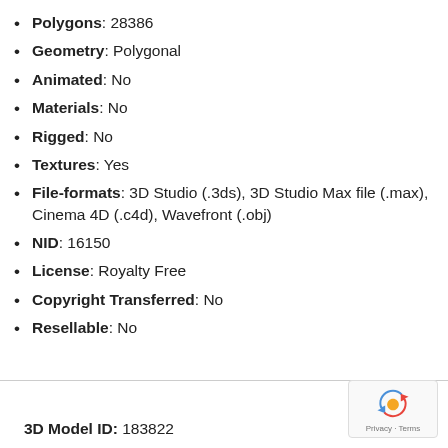Polygons: 28386
Geometry: Polygonal
Animated: No
Materials: No
Rigged: No
Textures: Yes
File-formats: 3D Studio (.3ds), 3D Studio Max file (.max), Cinema 4D (.c4d), Wavefront (.obj)
NID: 16150
License: Royalty Free
Copyright Transferred: No
Resellable: No
3D Model ID: 183822